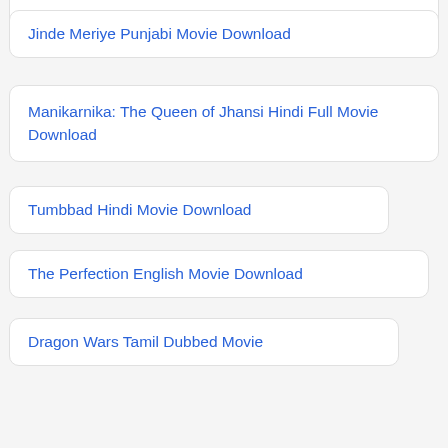Jinde Meriye Punjabi Movie Download
Manikarnika: The Queen of Jhansi Hindi Full Movie Download
Tumbbad Hindi Movie Download
The Perfection English Movie Download
Dragon Wars Tamil Dubbed Movie
London Has Fallen Tamil Dubbed Movie
Ford v Ferrari Tamil Dubbed Movie Download
Waaris Hindi Movie Download